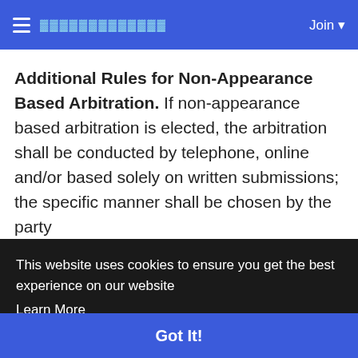≡  ▓▓▓▓▓▓▓▓▓▓▓▓▓  Join ▾
Additional Rules for Non-Appearance Based Arbitration. If non-appearance based arbitration is elected, the arbitration shall be conducted by telephone, online and/or based solely on written submissions; the specific manner shall be chosen by the party
This website uses cookies to ensure you get the best experience on our website
Learn More
Got It!